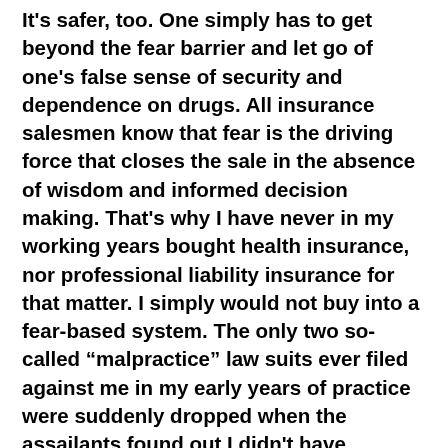It's safer, too. One simply has to get beyond the fear barrier and let go of one's false sense of security and dependence on drugs. All insurance salesmen know that fear is the driving force that closes the sale in the absence of wisdom and informed decision making. That's why I have never in my working years bought health insurance, nor professional liability insurance for that matter. I simply would not buy into a fear-based system. The only two so-called “malpractice” law suits ever filed against me in my early years of practice were suddenly dropped when the assailants found out I didn't have liability insurance. And the only health care insurance I've ever owned and used is Chiropractic and wholistic health care. My heart by-pass surgery was a gift from God. Thank you, God, and Poudre Valley Hospital in Fort Collins, Colorado. For that matter, all doctors are gifts from God.